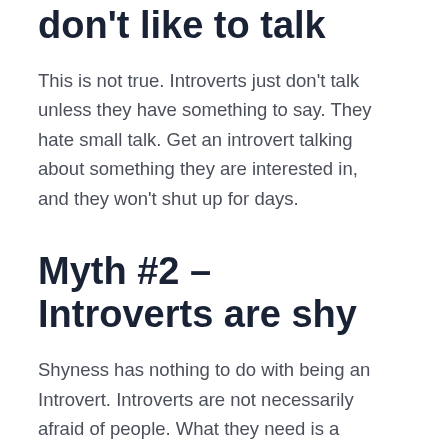don't like to talk
This is not true. Introverts just don't talk unless they have something to say. They hate small talk. Get an introvert talking about something they are interested in, and they won't shut up for days.
Myth #2 – Introverts are shy
Shyness has nothing to do with being an Introvert. Introverts are not necessarily afraid of people. What they need is a reason to interact. They don't interact for the sake of